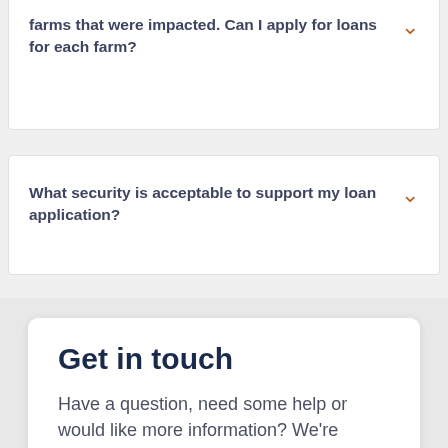farms that were impacted. Can I apply for loans for each farm?
What security is acceptable to support my loan application?
Get in touch
Have a question, need some help or would like more information? We're